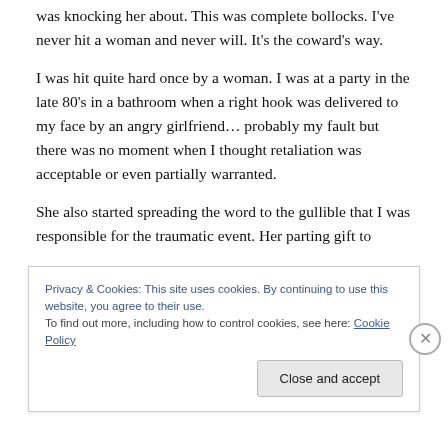was ~~knocking her about.~~ This was complete bollocks. I've never hit a woman and never will.  It's the coward's way.
I was hit quite hard once by a woman. I was at a party in the late 80's in a bathroom when a right hook was delivered to my face by an angry girlfriend… probably my fault but there was no moment when I thought retaliation was acceptable or even partially warranted.
She also started spreading the word to the gullible that I was responsible for the traumatic event.  Her parting gift to
Privacy & Cookies: This site uses cookies. By continuing to use this website, you agree to their use.
To find out more, including how to control cookies, see here: Cookie Policy
Close and accept